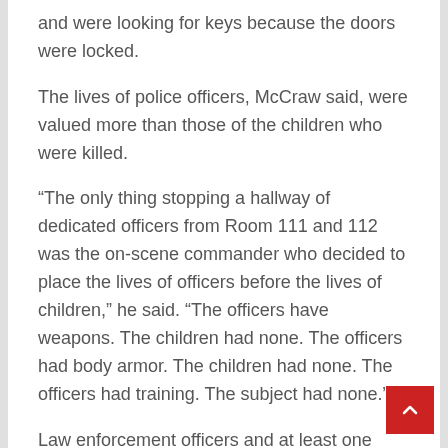and were looking for keys because the doors were locked.
The lives of police officers, McCraw said, were valued more than those of the children who were killed.
“The only thing stopping a hallway of dedicated officers from Room 111 and 112 was the on-scene commander who decided to place the lives of officers before the lives of children,” he said. “The officers have weapons. The children had none. The officers had body armor. The children had none. The officers had training. The subject had none.”
Law enforcement officers and at least one